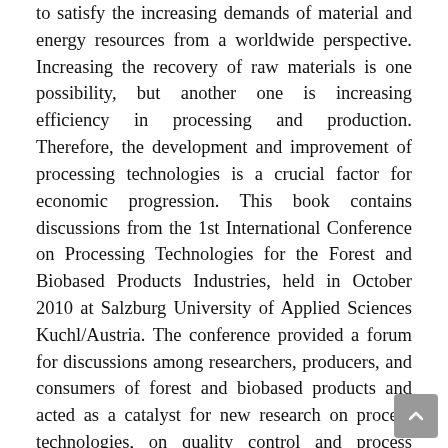to satisfy the increasing demands of material and energy resources from a worldwide perspective. Increasing the recovery of raw materials is one possibility, but another one is increasing efficiency in processing and production. Therefore, the development and improvement of processing technologies is a crucial factor for economic progression. This book contains discussions from the 1st International Conference on Processing Technologies for the Forest and Biobased Products Industries, held in October 2010 at Salzburg University of Applied Sciences Kuchl/Austria. The conference provided a forum for discussions among researchers, producers, and consumers of forest and biobased products and acted as a catalyst for new research on process technologies, on quality control and process improvement, and on new concepts for use by technical managers, operations managers, and business managers. The book presents an overview of new developments in processing technologies in the forest and biobased products industries. (Series: Austria: